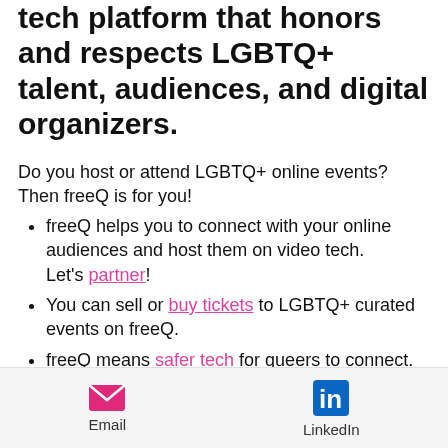tech platform that honors and respects LGBTQ+ talent, audiences, and digital organizers.
Do you host or attend LGBTQ+ online events? Then freeQ is for you!
freeQ helps you to connect with your online audiences and host them on video tech. Let's partner!
You can sell or buy tickets to LGBTQ+ curated events on freeQ.
freeQ means safer tech for queers to connect. freeQ offers "white label" licenses so you can use the tech in your work. freeQ
Email  LinkedIn